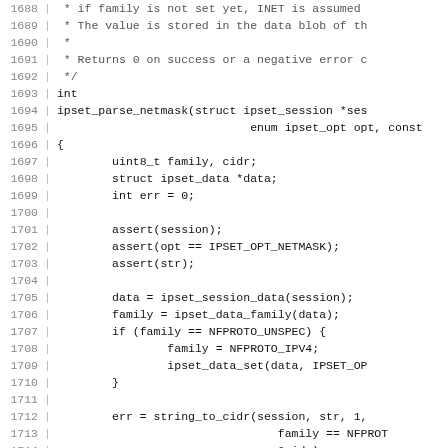Source code listing, lines 1688-1717, ipset_parse_netmask function in C